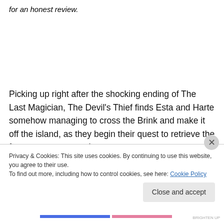for an honest review.
Picking up right after the shocking ending of The Last Magician, The Devil's Thief finds Esta and Harte somehow managing to cross the Brink and make it off the island, as they begin their quest to retrieve the four stones scattered
Privacy & Cookies: This site uses cookies. By continuing to use this website, you agree to their use.
To find out more, including how to control cookies, see here: Cookie Policy
Close and accept